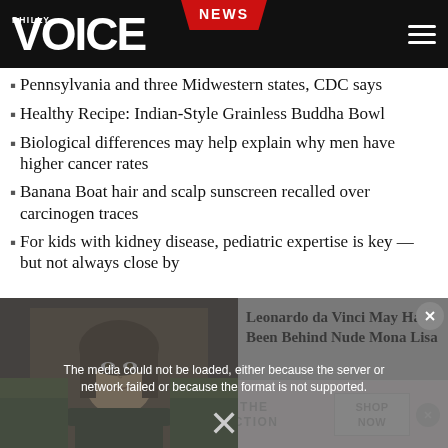Philly Voice NEWS
Pennsylvania and three Midwestern states, CDC says
Healthy Recipe: Indian-Style Grainless Buddha Bowl
Biological differences may help explain why men have higher cancer rates
Banana Boat hair and scalp sunscreen recalled over carcinogen traces
For kids with kidney disease, pediatric expertise is key — but not always close by
[Figure (screenshot): Video player showing Mona Lisa image with media error overlay: 'The media could not be loaded, either because the server or network failed or because the format is not supported.' Video title overlay reads: 'Leonardo da Vinci May Have Been Behind Nude Mona Lisa'. X dismiss button visible.]
[Figure (screenshot): Victoria's Secret advertisement banner showing model, VS logo, text 'SHOP THE COLLECTION', and 'SHOP NOW' button.]